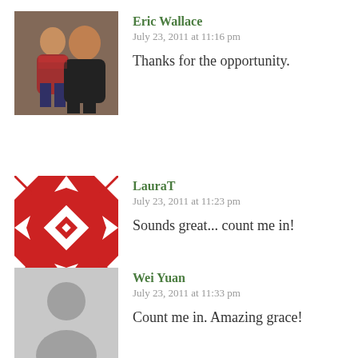[Figure (photo): Avatar photo of Eric Wallace - two people posing together]
Eric Wallace
July 23, 2011 at 11:16 pm

Thanks for the opportunity.
[Figure (illustration): Avatar for LauraT - red and white geometric quilt-pattern square icon]
LauraT
July 23, 2011 at 11:23 pm

Sounds great... count me in!
[Figure (illustration): Generic gray silhouette avatar for Wei Yuan]
Wei Yuan
July 23, 2011 at 11:33 pm

Count me in. Amazing grace!